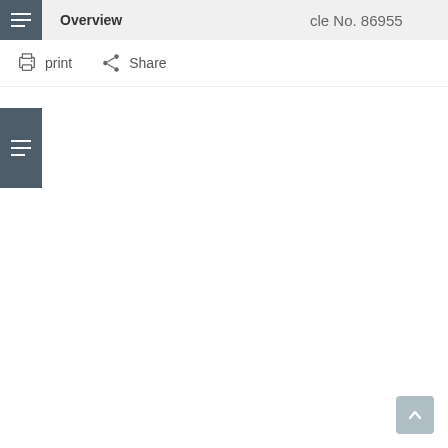cle No. 86955
Overview
print   Share